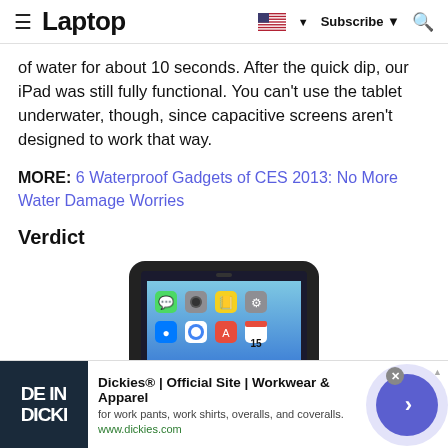Laptop | Subscribe | Search
of water for about 10 seconds. After the quick dip, our iPad was still fully functional. You can't use the tablet underwater, though, since capacitive screens aren't designed to work that way.
MORE: 6 Waterproof Gadgets of CES 2013: No More Water Damage Worries
Verdict
[Figure (photo): iPad in a black protective waterproof case showing the iOS home screen]
[Figure (infographic): Advertisement banner for Dickies Official Site - Workwear & Apparel. Shows 'DE IN DICKI' image on left, ad text in center, and navigation arrow on right. URL: www.dickies.com]